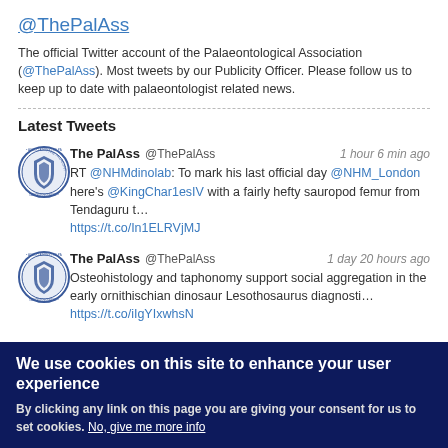@ThePalAss
The official Twitter account of the Palaeontological Association (@ThePalAss). Most tweets by our Publicity Officer. Please follow us to keep up to date with palaeontologist related news.
Latest Tweets
The PalAss @ThePalAss 1 hour 6 min ago
RT @NHMdinolab: To mark his last official day @NHM_London here's @KingChar1esIV with a fairly hefty sauropod femur from Tendaguru t… https://t.co/In1ELRVjMJ
The PalAss @ThePalAss 1 day 20 hours ago
Osteohistology and taphonomy support social aggregation in the early ornithischian dinosaur Lesothosaurus diagnosti… https://t.co/iIgYIxwhsN
We use cookies on this site to enhance your user experience
By clicking any link on this page you are giving your consent for us to set cookies. No, give me more info